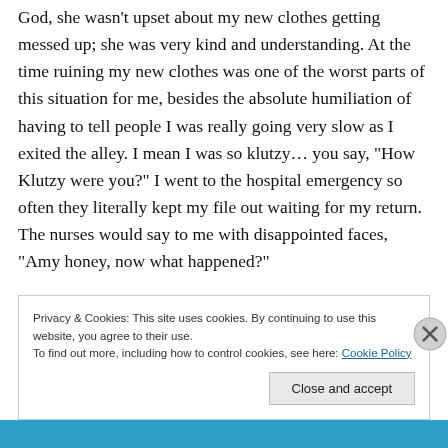God, she wasn't upset about my new clothes getting messed up; she was very kind and understanding. At the time ruining my new clothes was one of the worst parts of this situation for me, besides the absolute humiliation of having to tell people I was really going very slow as I exited the alley. I mean I was so klutzy… you say, "How Klutzy were you?" I went to the hospital emergency so often they literally kept my file out waiting for my return. The nurses would say to me with disappointed faces, "Amy honey, now what happened?"
Privacy & Cookies: This site uses cookies. By continuing to use this website, you agree to their use.
To find out more, including how to control cookies, see here: Cookie Policy